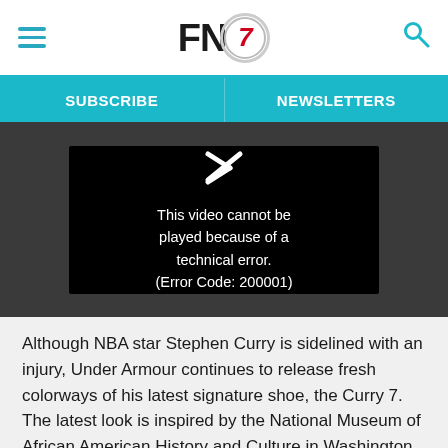FN7 — SUBSCRIBE | NEWSLETTERS
[Figure (screenshot): Video player showing error message: 'This video cannot be played because of a technical error. (Error Code: 200001)']
Although NBA star Stephen Curry is sidelined with an injury, Under Armour continues to release fresh colorways of his latest signature shoe, the Curry 7. The latest look is inspired by the National Museum of African American History and Culture in Washington, D.C., in anticipation for Black History Month.